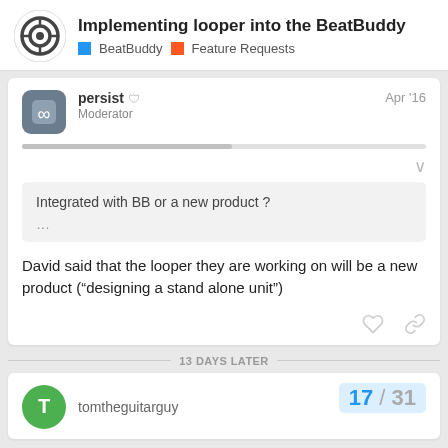Implementing looper into the BeatBuddy | BeatBuddy | Feature Requests
persist Moderator Apr '16
Integrated with BB or a new product ?
...
David said that the looper they are working on will be a new product (“designing a stand alone unit”)
13 DAYS LATER
tomtheguitarguy
17 / 31